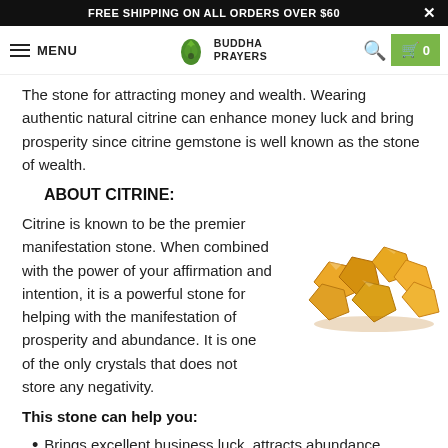FREE SHIPPING ON ALL ORDERS OVER $60
MENU | BUDDHA PRAYERS | 0
The stone for attracting money and wealth. Wearing authentic natural citrine can enhance money luck and bring prosperity since citrine gemstone is well known as the stone of wealth.
ABOUT CITRINE:
Citrine is known to be the premier manifestation stone. When combined with the power of your affirmation and intention, it is a powerful stone for helping with the manifestation of prosperity and abundance. It is one of the only crystals that does not store any negativity.
[Figure (photo): Cluster of rough citrine gemstones, amber/golden yellow color]
This stone can help you:
Brings excellent business luck, attracts abundance, fortune and wealth